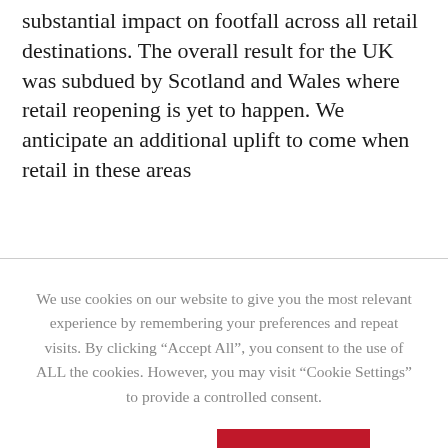substantial impact on footfall across all retail destinations. The overall result for the UK was subdued by Scotland and Wales where retail reopening is yet to happen. We anticipate an additional uplift to come when retail in these areas
We use cookies on our website to give you the most relevant experience by remembering your preferences and repeat visits. By clicking “Accept All”, you consent to the use of ALL the cookies. However, you may visit “Cookie Settings” to provide a controlled consent.
Cookie Settings   Accept All
include intu Lakeside and intu Trafford Centre, said: “Footfall increased towards the weekend and Saturday and Sunday were our busiest days so far. Visitor numbers were up by 321% on last weekend across all intu centres, with more than half of the stores in our centres now open. We have welcomed